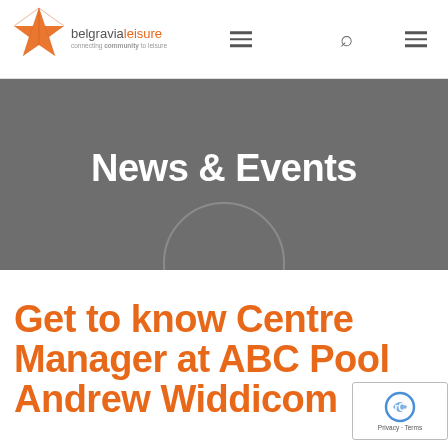[Figure (logo): Belgravia Leisure logo with orange star icon and tagline 'connecting community to leisure']
News & Events
Get to know Centre Manager at ABC Pool Andrew Widdicom